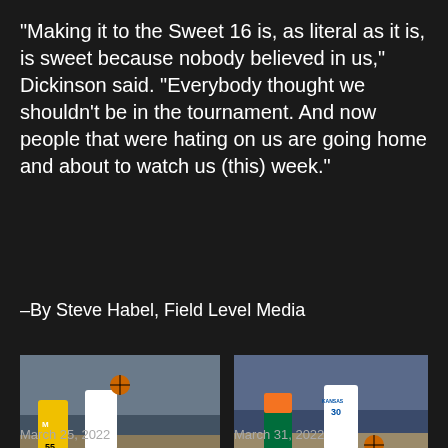“Making it to the Sweet 16 is, as literal as it is, is sweet because nobody believed in us,” Dickinson said. “Everybody thought we shouldn’t be in the tournament. And now people that were hating on us are going home and about to watch us (this) week.”
–By Steve Habel, Field Level Media
[Figure (photo): Basketball game photo showing players competing, including Michigan player #55]
[Figure (photo): Basketball game photo showing player #30 in white Kansas uniform dribbling against a Miami player]
#2 Villanova holds off #11 Michigan in Sweet 16
March 25, 2022
Kansas heavily backed against Justin Moore-less Villanova
March 31, 2022